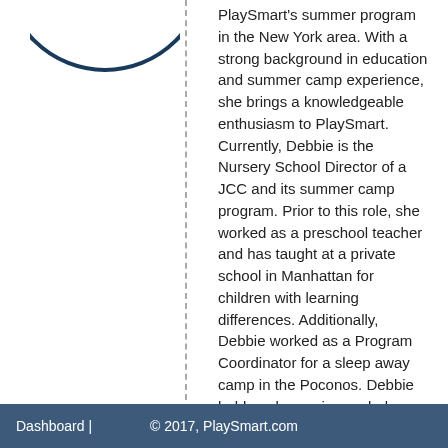[Figure (illustration): Partial view of a circular portrait photo, cropped at the top of the page, showing the bottom arc of a dark-bordered circle]
PlaySmart's summer program in the New York area. With a strong background in education and summer camp experience, she brings a knowledgeable enthusiasm to PlaySmart. Currently, Debbie is the Nursery School Director of a JCC and its summer camp program. Prior to this role, she worked as a preschool teacher and has taught at a private school in Manhattan for children with learning differences. Additionally, Debbie worked as a Program Coordinator for a sleep away camp in the Poconos. Debbie holds a degree in psychology from The Ohio State University and an MS in special education from Hunter College. She currently resides in Rye, NY,
Dashboard | © 2017, PlaySmart.com